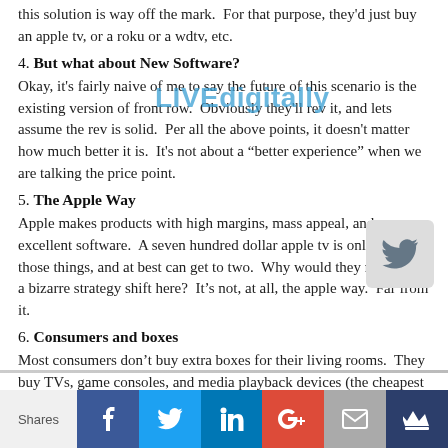this solution is way off the mark.  For that purpose, they'd just buy an apple tv, or a roku or a wdtv, etc.
4. But what about New Software?
Okay, it's fairly naive of me to say the future of this scenario is the existing version of front row.  Obviously they'll rev it, and lets assume the rev is solid.  Per all the above points, it doesn't matter how much better it is.  It's not about a “better experience” when we are talking the price point.
5. The Apple Way
Apple makes products with high margins, mass appeal, and excellent software.  A seven hundred dollar apple tv is only one of those things, and at best can get to two.  Why would they make such a bizarre strategy shift here?  It’s not, at all, the apple way.  Far from it.
6. Consumers and boxes
Most consumers don’t buy extra boxes for their living rooms.  They buy TVs, game consoles, and media playback devices (the cheapest of the
Shares | Facebook | Twitter | LinkedIn | Google+ | Email | Crown